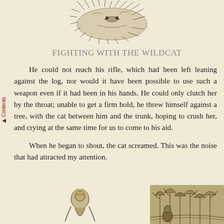[Figure (illustration): Black and white sketch of a wildcat or animal at the top of the page]
Fighting with the Wildcat
He could not reach his rifle, which had been left leaning against the log, nor would it have been possible to use such a weapon even if it had been in his hands. He could only clutch her by the throat; unable to get a firm hold, he threw himself against a tree, with the cat between him and the trunk, hoping to crush her, and crying at the same time for us to come to his aid.
When he began to shout, the cat screamed. This was the noise that had attracted my attention.
[Figure (illustration): Black and white sketch of a person crouching at bottom center]
[Figure (illustration): Black and white sketch of trees or forest scene at bottom right]